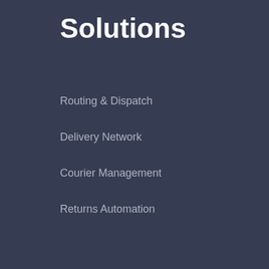Solutions
Routing & Dispatch
Delivery Network
Courier Management
Returns Automation
Resources
Blog
White Papers
Webinars
Videos